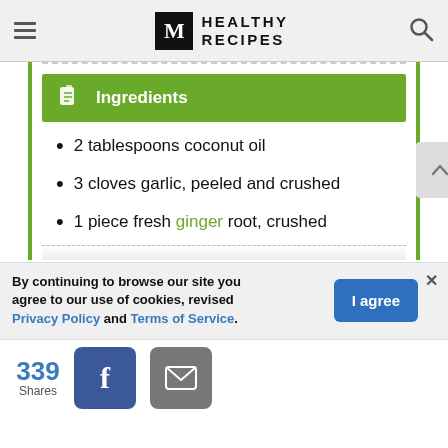M HEALTHY RECIPES
Ingredients
2 tablespoons coconut oil
3 cloves garlic, peeled and crushed
1 piece fresh ginger root, crushed
By continuing to browse our site you agree to our use of cookies, revised Privacy Policy and Terms of Service.
339 Shares